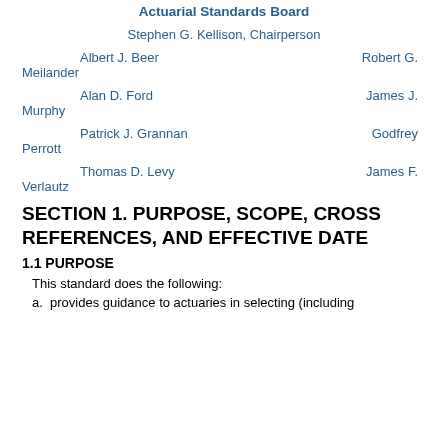Actuarial Standards Board
Stephen G. Kellison, Chairperson
Albert J. Beer             Robert G. Meilander
Alan D. Ford             James J. Murphy
Patrick J. Grannan           Godfrey Perrott
Thomas D. Levy             James F. Verlautz
SECTION 1. PURPOSE, SCOPE, CROSS REFERENCES, AND EFFECTIVE DATE
1.1 PURPOSE
This standard does the following:
a. provides guidance to actuaries in selecting (including